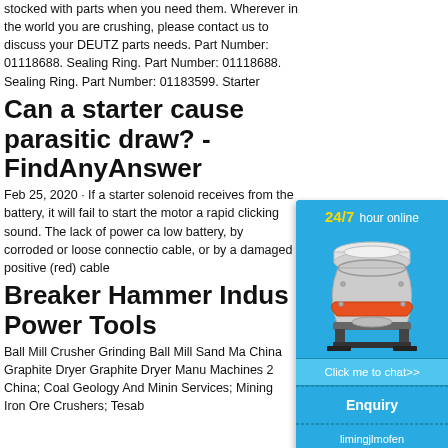stocked with parts when you need them. Wherever in the world you are crushing, please contact us to discuss your DEUTZ parts needs. Part Number: 01118688. Sealing Ring. Part Number: 01118688. Sealing Ring. Part Number: 01183599. Starter
Can a starter cause parasitic draw? - FindAnyAnswer
Feb 25, 2020 · If a starter solenoid receives from the battery, it will fail to start the motor a rapid clicking sound. The lack of power ca low battery, by corroded or loose connectio cable, or by a damaged positive (red) cable
Breaker Hammer Indus Power Tools
Ball Mill Crusher Grinding Ball Mill Sand Ma China Graphite Dryer Graphite Dryer Manu Machines 2 China; Coal Geology And Minin Services; Mining Iron Ore Crushers; Tesab
[Figure (infographic): Chat widget overlay with '24/7 hour online' header in yellow/white on blue background, image of a cone crusher machine, 'Click me to chat>>' button, 'Enquiry' section, and 'limingjlmofen' text at bottom.]